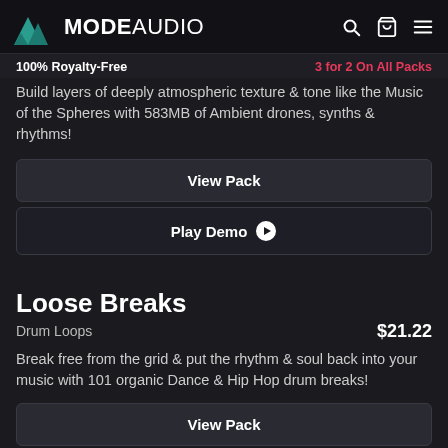MODE AUDIO
100% Royalty-Free   3 for 2 On All Packs
Build layers of deeply atmospheric texture & tone like the Music of the Spheres with 583MB of Ambient drones, synths & rhythms!
View Pack
Play Demo
Loose Breaks
Drum Loops   $21.22
Break free from the grid & put the rhythm & soul back into your music with 101 organic Dance & Hip Hop drum breaks!
View Pack